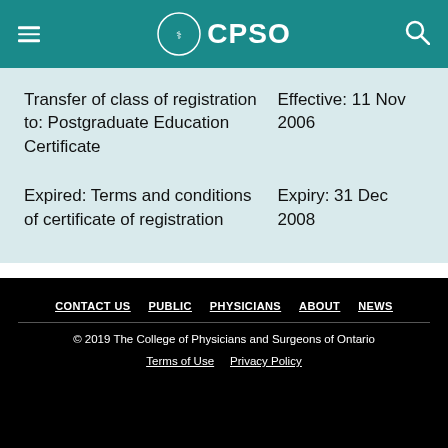CPSO
| Action | Date |
| --- | --- |
| Transfer of class of registration to: Postgraduate Education Certificate | Effective: 11 Nov 2006 |
| Expired: Terms and conditions of certificate of registration | Expiry: 31 Dec 2008 |
CONTACT US  PUBLIC  PHYSICIANS  ABOUT  NEWS
© 2019 The College of Physicians and Surgeons of Ontario
Terms of Use  Privacy Policy